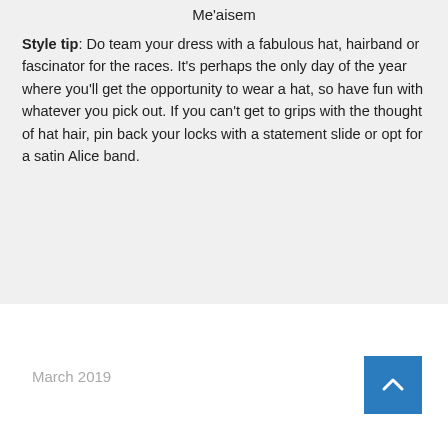Me'aisem
Style tip: Do team your dress with a fabulous hat, hairband or fascinator for the races. It’s perhaps the only day of the year where you’ll get the opportunity to wear a hat, so have fun with whatever you pick out. If you can’t get to grips with the thought of hat hair, pin back your locks with a statement slide or opt for a satin Alice band.
March 2019
Award Season Special How You